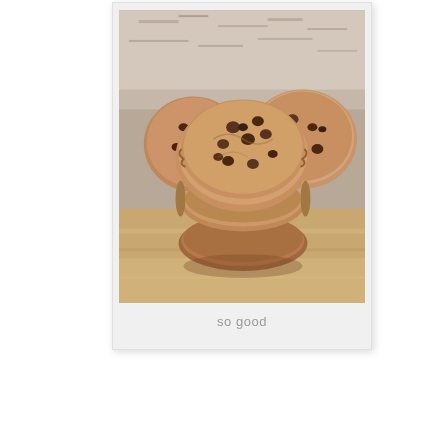[Figure (photo): Polaroid-style photo of chocolate chip cookies stacked on a wooden surface with granite background. Multiple cookies visible, close-up shot showing texture and chocolate chips.]
so good